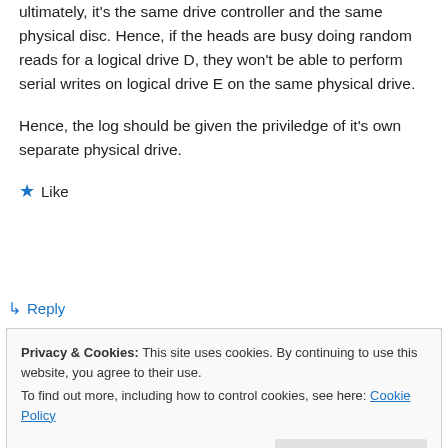ultimately, it's the same drive controller and the same physical disc. Hence, if the heads are busy doing random reads for a logical drive D, they won't be able to perform serial writes on logical drive E on the same physical drive.
Hence, the log should be given the priviledge of it's own separate physical drive.
★ Like
↳ Reply
Privacy & Cookies: This site uses cookies. By continuing to use this website, you agree to their use.
To find out more, including how to control cookies, see here: Cookie Policy
Close and accept